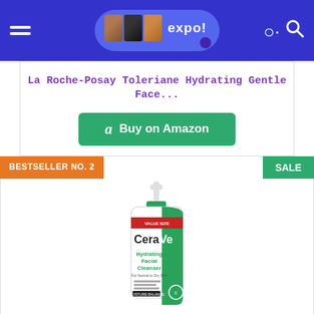expo! [logo with hamburger menu and search]
La Roche-Posay Toleriane Hydrating Gentle Face...
Buy on Amazon
BESTSELLER NO. 2
SALE
[Figure (photo): CeraVe Hydrating Facial Cleanser bottle with green pump and green label]
CeraVe Hydrating Facial Cleanser | Moisturizing...
Buy on Amazon